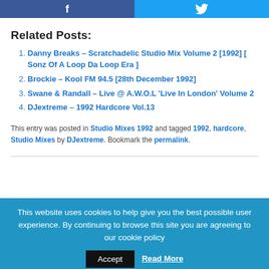Related Posts:
Danny Breaks – Scratchadelic Studio Mix Volume 2 [1992] [ Sonz Of A Loop Da Loop Era ]
Brockie – Kool FM 94.5 [28th December 1992]
Swane & Randall – Live @ A.W.O.L 'Live In London' Volume 2
DJextreme – 1992 Hardcore Vol.13
This entry was posted in Studio Mixes 1992 and tagged 1992, hardcore, Studio Mixes by DJextreme. Bookmark the permalink.
This website uses cookies to help give you the best possible user experience. By continuing to browse this site you are agreeing to our cookie policy  Accept  Read More